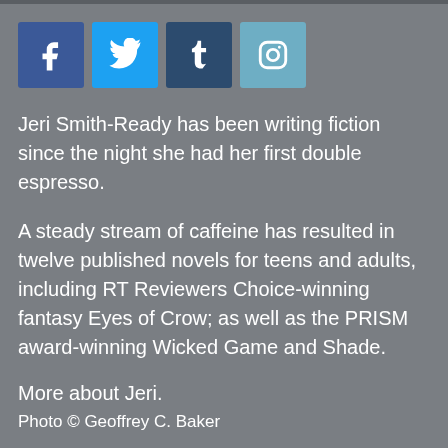[Figure (other): Row of four social media icon buttons: Facebook (blue), Twitter (light blue), Tumblr (dark blue), Instagram (light blue-gray)]
Jeri Smith-Ready has been writing fiction since the night she had her first double espresso.
A steady stream of caffeine has resulted in twelve published novels for teens and adults, including RT Reviewers Choice-winning fantasy Eyes of Crow; as well as the PRISM award-winning Wicked Game and Shade.
More about Jeri.
Photo © Geoffrey C. Baker